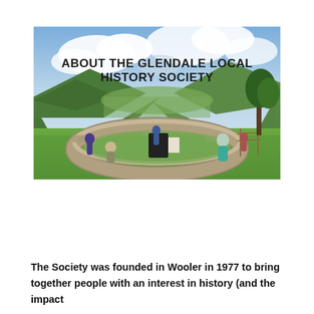[Figure (photo): Outdoor photograph of people gathered around a stone-walled enclosure in a valley with green hills and dramatic cloudy sky. Text overlay reads 'ABOUT THE GLENDALE LOCAL HISTORY SOCIETY'.]
The Society was founded in Wooler in 1977 to bring together people with an interest in history (and the impact